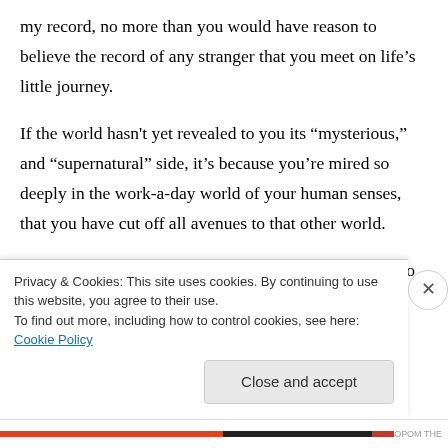my record, no more than you would have reason to believe the record of any stranger that you meet on life’s little journey.
If the world hasn't yet revealed to you its “mysterious,” and “supernatural” side, it’s because you’re mired so deeply in the work-a-day world of your human senses, that you have cut off all avenues to that other world.
I would recommend getting back to basics, and that is to meditate, and meditate often, and
Privacy & Cookies: This site uses cookies. By continuing to use this website, you agree to their use.
To find out more, including how to control cookies, see here: Cookie Policy